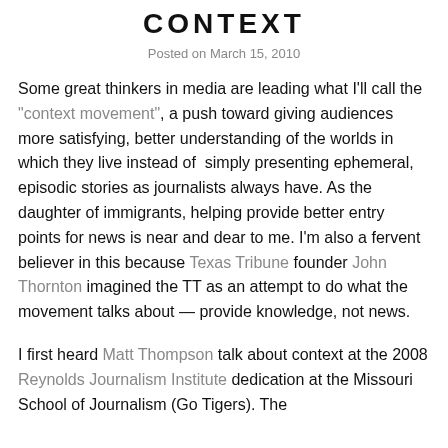CONTEXT
Posted on March 15, 2010
Some great thinkers in media are leading what I'll call the "context movement", a push toward giving audiences more satisfying, better understanding of the worlds in which they live instead of simply presenting ephemeral, episodic stories as journalists always have. As the daughter of immigrants, helping provide better entry points for news is near and dear to me. I'm also a fervent believer in this because Texas Tribune founder John Thornton imagined the TT as an attempt to do what the movement talks about — provide knowledge, not news.
I first heard Matt Thompson talk about context at the 2008 Reynolds Journalism Institute dedication at the Missouri School of Journalism (Go Tigers). The